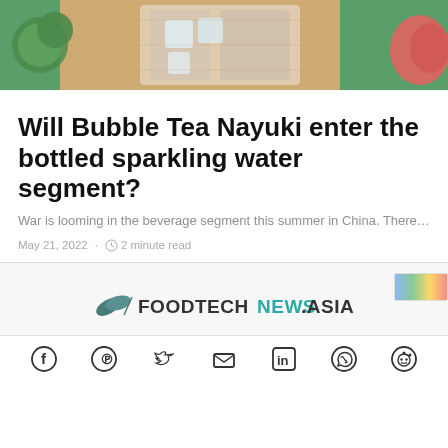[Figure (photo): Food/beverage photo showing drinks with ice, limes, and fruits on a wooden board with green background]
Will Bubble Tea Nayuki enter the bottled sparkling water segment?
War is looming in the beverage segment this summer in China. There…
May 21, 2022 · 2 minute read
[Figure (logo): FoodTechNews.Asia logo with leaf icons]
[Figure (infographic): Social sharing icons: Facebook, Pinterest, Twitter, Email, LinkedIn, WhatsApp, Reddit]